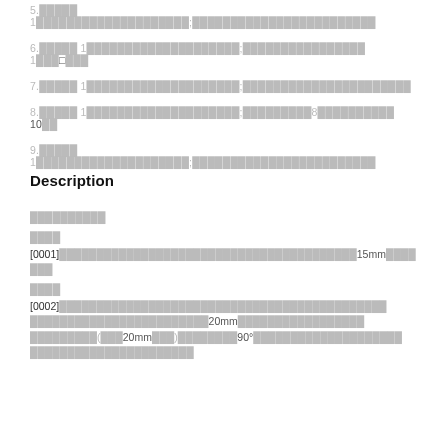5.█████ 1████████████████████;████████████████████████
6.█████ 1████████████████████;████████████████ 1███□███
7.█████ 1████████████████████;██████████████████████
8.█████ 1████████████████████;█████████8██████████ 10██
9.█████ 1████████████████████;████████████████████████
Description
██████████
████
[0001]████████████████████████████████████████15mm████
███
████
[0002]████████████████████████████████████████████
████████████████████████20mm█████████████████
█████████(███20mm███)████████90°████████████████████
██████████████████████